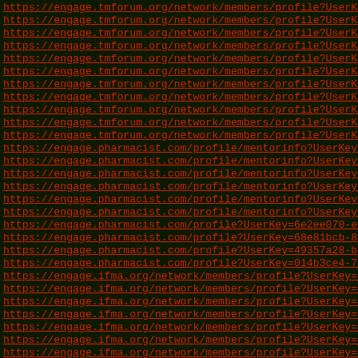https://engage.tmforum.org/network/members/profile?UserKey=
https://engage.tmforum.org/network/members/profile?UserKey=
https://engage.tmforum.org/network/members/profile?UserKey=
https://engage.tmforum.org/network/members/profile?UserKey=
https://engage.tmforum.org/network/members/profile?UserKey=
https://engage.tmforum.org/network/members/profile?UserKey=
https://engage.tmforum.org/network/members/profile?UserKey=
https://engage.tmforum.org/network/members/profile?UserKey=
https://engage.tmforum.org/network/members/profile?UserKey=
https://engage.tmforum.org/network/members/profile?UserKey=
https://engage.tmforum.org/network/members/profile?UserKey=
https://engage.pharmacist.com/profile/mentorinfo?UserKey=b7
https://engage.pharmacist.com/profile/mentorinfo?UserKey=65
https://engage.pharmacist.com/profile/mentorinfo?UserKey=5a
https://engage.pharmacist.com/profile/mentorinfo?UserKey=43
https://engage.pharmacist.com/profile/mentorinfo?UserKey=3c
https://engage.pharmacist.com/profile/mentorinfo?UserKey=07
https://engage.pharmacist.com/profile?UserKey=6e2ee070-e977
https://engage.pharmacist.com/profile?UserKey=68e81bcb-8dae
https://engage.pharmacist.com/profile?UserKey=49357a28-b0a3
https://engage.pharmacist.com/profile?UserKey=014b3ce4-731b
https://engage.ifma.org/network/members/profile?UserKey=b50
https://engage.ifma.org/network/members/profile?UserKey=87b
https://engage.ifma.org/network/members/profile?UserKey=650
https://engage.ifma.org/network/members/profile?UserKey=636
https://engage.ifma.org/network/members/profile?UserKey=5a3
https://engage.ifma.org/network/members/profile?UserKey=57d
https://engage.ifma.org/network/members/profile?UserKey=4b4
https://engage.ifma.org/network/members/profile?UserKey=320
https://engage.ifma.org/network/members/profile?UserKey=160
https://engage.ifma.org/network/members/profile?UserKey=